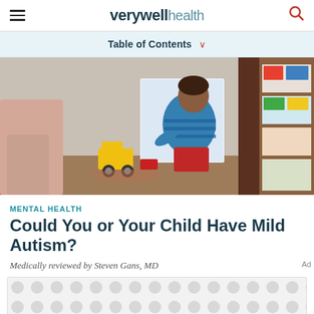verywell health
Table of Contents
[Figure (photo): A young child in a blue striped shirt sitting on the floor playing with toys, with shelves of toys in the background and an adult partially visible nearby.]
MENTAL HEALTH
Could You or Your Child Have Mild Autism?
Medically reviewed by Steven Gans, MD
[Figure (other): Advertisement placeholder with repeating dot pattern.]